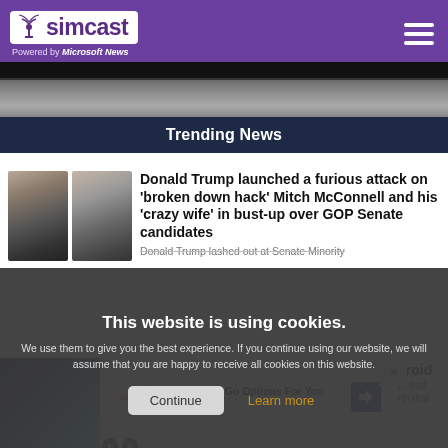simcast — Powered by Microsoft News
[Figure (photo): Cropped photo showing what appears to be a road surface or sidewalk, dark at top]
Trending News
[Figure (photo): Two thumbnail photos: Donald Trump at a microphone and Mitch McConnell gesturing]
Donald Trump launched a furious attack on 'broken down hack' Mitch McConnell and his 'crazy wife' in bust-up over GOP Senate candidates
Donald Trump lashed out at Senate Minority...
This website is using cookies. We use them to give you the best experience. If you continue using our website, we will assume that you are happy to receive all cookies on this website.
Continue   Learn more
[Figure (photo): Space/asteroid scene thumbnail at bottom left]
Easy On-The-Go Options For You
McAlister's Deli
eroid
er that
rth that